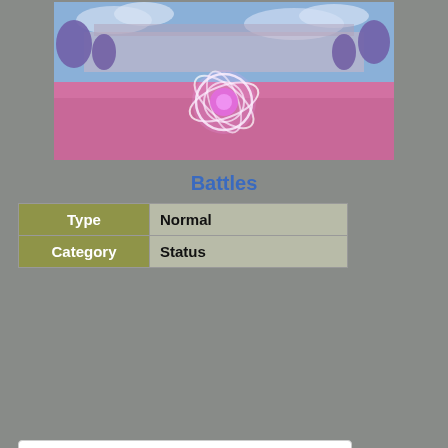[Figure (screenshot): A Pokémon battle screenshot showing a pink glowing energy ball move being used on a field with purple/pink ground and trees in the background.]
Battles
| Type | Normal |
| --- | --- |
| Category | Status |
PP: 15 (max. 24)
Power: —
Accuracy: 100%
Does not make contact
Affected by Protect
Affected by Magic Coat and Magic Bounce